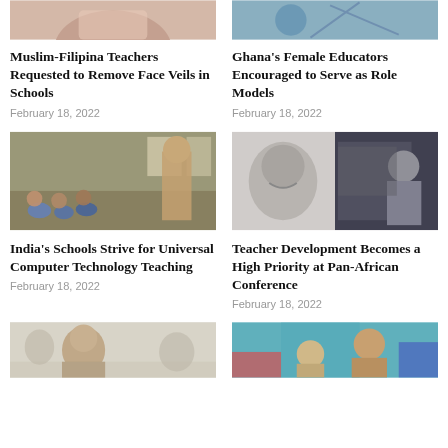[Figure (photo): Partial photo at top left - hands/person]
[Figure (photo): Partial photo at top right - person with geometric shapes]
Muslim-Filipina Teachers Requested to Remove Face Veils in Schools
February 18, 2022
Ghana's Female Educators Encouraged to Serve as Role Models
February 18, 2022
[Figure (photo): Classroom in India with teacher and students sitting on floor]
[Figure (photo): Black and white image of female educator at whiteboard]
India's Schools Strive for Universal Computer Technology Teaching
February 18, 2022
Teacher Development Becomes a High Priority at Pan-African Conference
February 18, 2022
[Figure (photo): Young Asian boy in classroom setting]
[Figure (photo): Adult with young child, colorful background]